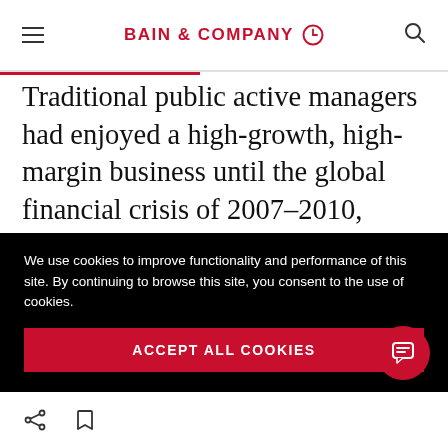BAIN & COMPANY
Traditional public active managers had enjoyed a high-growth, high-margin business until the global financial crisis of 2007–2010, which ushered in an era of lower fees and eroded margins as investors shifted to exchange-traded funds and passive strategies. At the same time, regulations and technology requirements caused
We use cookies to improve functionality and performance of this site. By continuing to browse this site, you consent to the use of cookies.
ACCEPT ALL COOKIES